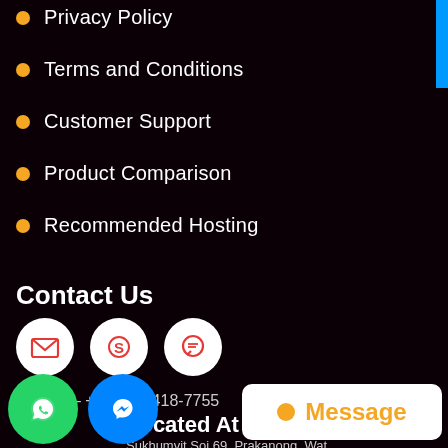Privacy Policy
Terms and Conditions
Customer Support
Product Comparison
Recommended Hosting
Contact Us
[Figure (infographic): Three white circular icon buttons: email envelope, Skype logo, WhatsApp chat bubble — contact method icons]
Call Us – +1-(415)-418-7755
Located At
Sukhumvit Soi 69, Prakanong, Wat...
[Figure (infographic): Green WhatsApp floating button, blue Messenger floating button, and white Message CTA box with orange dot and text]